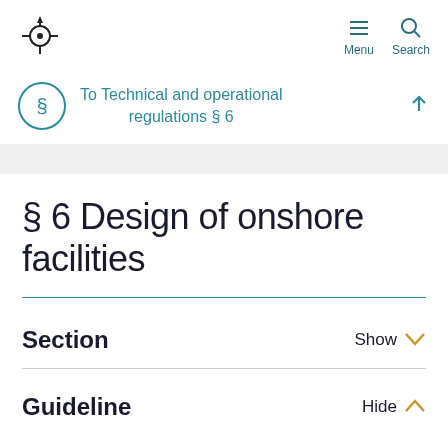Menu  Search
To Technical and operational regulations § 6
§ 6 Design of onshore facilities
Section  Show
Guideline  Hide